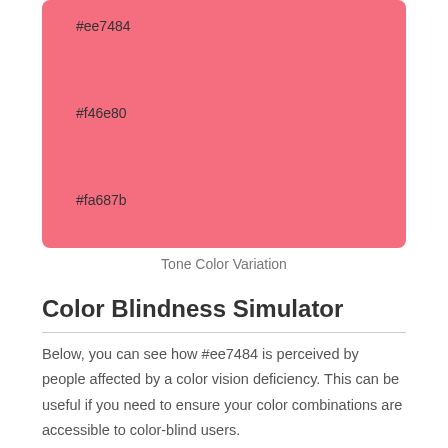[Figure (illustration): Color swatch showing pink color variations with hex codes #ee7484, #f46e80, #fa687b on a pink (#f46e80) background rectangle]
Tone Color Variation
Color Blindness Simulator
Below, you can see how #ee7484 is perceived by people affected by a color vision deficiency. This can be useful if you need to ensure your color combinations are accessible to color-blind users.
Monochromacy
[Figure (illustration): Gray color swatch representing Achromatopsia simulation of #ee7484]
Achromatopsia